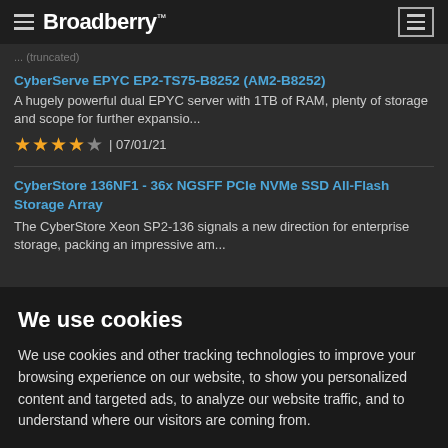Broadberry
...
CyberServe EPYC EP2-TS75-B8252 (AM2-B8252)
A hugely powerful dual EPYC server with 1TB of RAM, plenty of storage and scope for further expansio...
★★★★☆ | 07/01/21
CyberStore 136NF1 - 36x NGSFF PCIe NVMe SSD All-Flash Storage Array
The CyberStore Xeon SP2-136 signals a new direction for enterprise storage, packing an impressive am...
We use cookies
We use cookies and other tracking technologies to improve your browsing experience on our website, to show you personalized content and targeted ads, to analyze our website traffic, and to understand where our visitors are coming from.